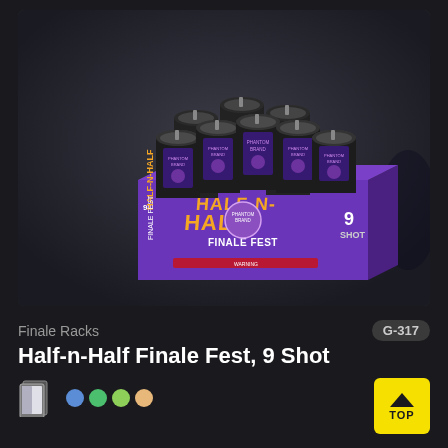[Figure (photo): Product photo of Half-n-Half Finale Fest 9-Shot fireworks rack — a purple box with 9 black cylindrical mortars, labeled 'Phantom Brand' on the tubes and 'Half-N-Half Finale Fest 9 Shot' on the box.]
Finale Racks
G-317
Half-n-Half Finale Fest, 9 Shot
[Figure (illustration): Card/sample icon and four color dots (blue, green, light green, peach/orange)]
[Figure (illustration): Yellow TOP button with upward chevron arrow]